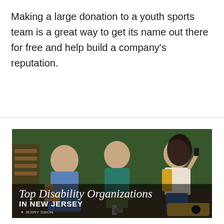Making a large donation to a youth sports team is a great way to get its name out there for free and help build a company's reputation.
[Figure (photo): Three people socializing outdoors near a bench with green hedge background. Text overlay reads 'Top Disability Organizations IN NEW JERSEY' with byline 'JERRY SWON'.]